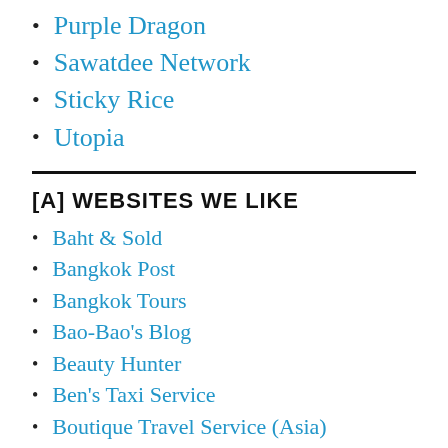Purple Dragon
Sawatdee Network
Sticky Rice
Utopia
[A] WEBSITES WE LIKE
Baht & Sold
Bangkok Post
Bangkok Tours
Bao-Bao's Blog
Beauty Hunter
Ben's Taxi Service
Boutique Travel Service (Asia)
Brand Thread...